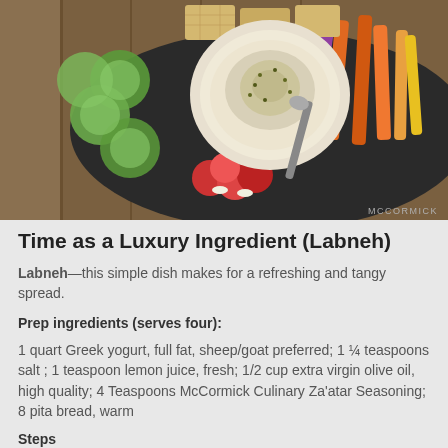[Figure (photo): Overhead view of a labneh dip in a white bowl topped with za'atar seasoning, surrounded by sliced cucumbers, radishes, carrot sticks, and crackers on a dark platter on a wooden surface.]
MCCORMICK
Time as a Luxury Ingredient (Labneh)
Labneh—this simple dish makes for a refreshing and tangy spread.
Prep ingredients (serves four):
1 quart Greek yogurt, full fat, sheep/goat preferred; 1 ¼ teaspoons salt ; 1 teaspoon lemon juice, fresh; 1/2 cup extra virgin olive oil, high quality; 4 Teaspoons McCormick Culinary Za'atar Seasoning; 8 pita bread, warm
Steps